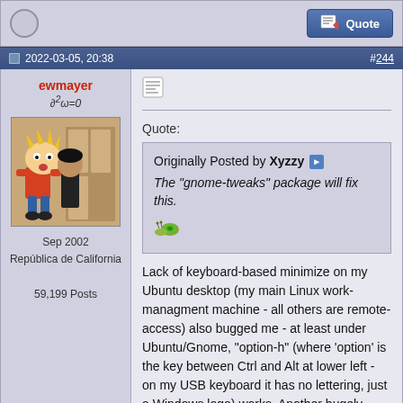[Figure (screenshot): Forum post top bar with avatar circle and Quote button]
2022-03-05, 20:38   #244
ewmayer
∂²ω=0
Sep 2002
República de California
59,199 Posts
[Figure (illustration): Calvin and Hobbes style avatar cartoon image]
Quote:
Originally Posted by Xyzzy
The "gnome-tweaks" package will fix this.
[snail emoji]
Lack of keyboard-based minimize on my Ubuntu desktop (my main Linux work-managment machine - all others are remote-access) also bugged me - at least under Ubuntu/Gnome, "option-h" (where 'option' is the key between Ctrl and Alt at lower left - on my USB keyboard it has no lettering, just a Windows logo) works. Another hugely useful key combo, which appears to work under both Gnome and MacOS, is Alt/[Apple logo]-Tab, which allows cycling among open applications - hold down Alt with left thumb and repeatedly hit Tab with left index finger to cycle, can also hold Alt and use right/left-